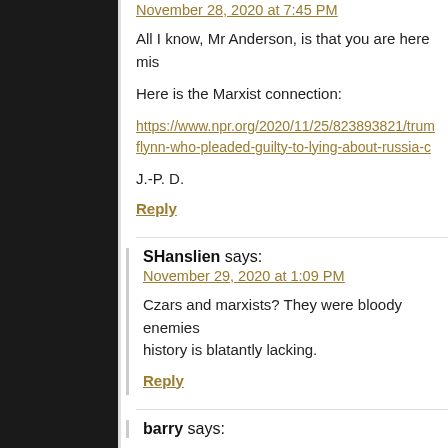November 28, 2020 at 7:45 PM
All I know, Mr Anderson, is that you are here mis
Here is the Marxist connection:
https://www.npr.org/2020/11/25/823893821/trum flynn-who-pleaded-guilty-to-lying-about-russia-c
J.-P. D.
Reply
SHanslien says:
November 29, 2020 at 1:09 PM
Czars and marxists? They were bloody enemies history is blatantly lacking.
Reply
barry says: